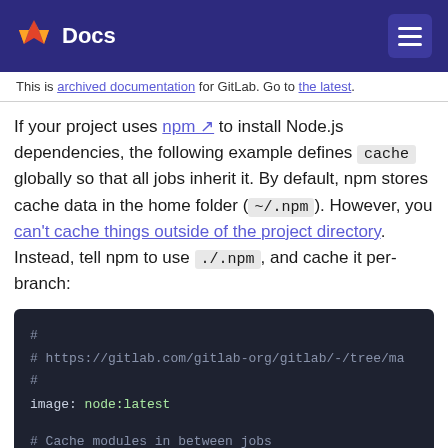Docs
This is archived documentation for GitLab. Go to the latest.
If your project uses npm to install Node.js dependencies, the following example defines cache globally so that all jobs inherit it. By default, npm stores cache data in the home folder (~/.npm). However, you can't cache things outside of the project directory. Instead, tell npm to use ./.npm, and cache it per-branch:
[Figure (screenshot): Code block showing GitLab CI YAML configuration with npm cache settings. Contains comments, image: node:latest, cache: with key: $CI_COMMIT_REF_SLUG]